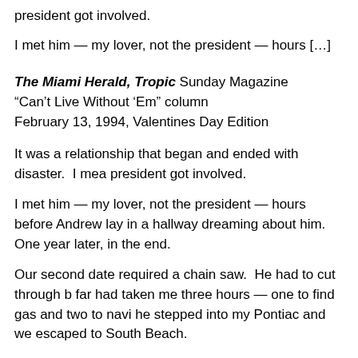president got involved.
I met him — my lover, not the president — hours […]
The Miami Herald, Tropic Sunday Magazine
"Can't Live Without 'Em" column
February 13, 1994, Valentines Day Edition
It was a relationship that began and ended with disaster.  I mea president got involved.
I met him — my lover, not the president — hours before Andrew lay in a hallway dreaming about him.  One year later, in the end.
Our second date required a chain saw.  He had to cut through b far had taken me three hours — one to find gas and two to navi he stepped into my Pontiac and we escaped to South Beach.
It felt like prohibition at the cafes, sipping white wine from tea cu thankful for any, peeling our clothes off in front of a hotel air con